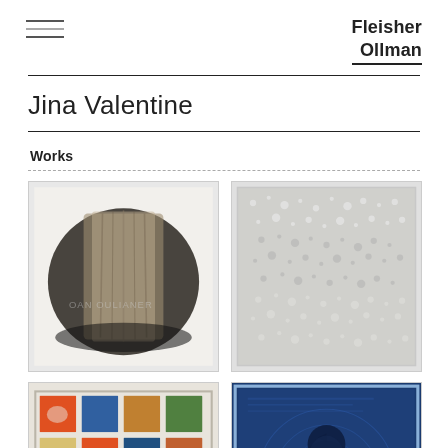Fleisher Ollman
Jina Valentine
Works
[Figure (photo): Artwork 1: dark monochromatic abstract image resembling a book or folded fabric with smudged text overlay]
[Figure (photo): Artwork 2: silver and white heavily textured surface, dense and granular]
[Figure (photo): Artwork 3: colorful mosaic or puzzle pattern with orange, yellow, blue, green tiles and white gaps]
[Figure (photo): Artwork 4: deep blue background with a dark silhouette and embossed or textured overlay]